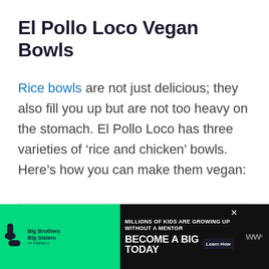El Pollo Loco Vegan Bowls
Rice bowls are not just delicious; they also fill you up but are not too heavy on the stomach. El Pollo Loco has three varieties of ‘rice and chicken’ bowls. Here’s how you can make them vegan:
[Figure (other): Light gray placeholder rectangle for an image]
MILLIONS OF KIDS ARE GROWING UP WITHOUT A MENTOR BECOME A BIG TODAY Learn How | Big Brothers Big Sisters of America advertisement